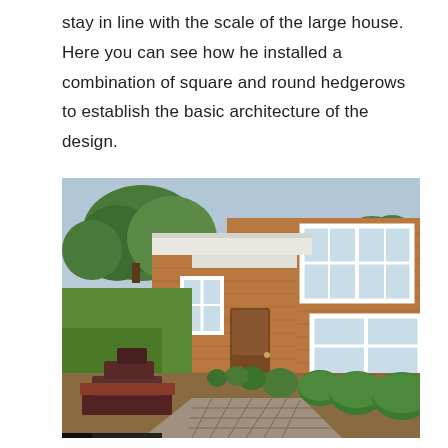stay in line with the scale of the large house. Here you can see how he installed a combination of square and round hedgerows to establish the basic architecture of the design.
[Figure (photo): Exterior photo of a large house with cedar shingle siding and white-trimmed windows. A stone tile walkway runs along the front of the house. On the left side of the walkway are tiered square-trimmed dark red/maroon hedgerows in a raised bed. On the right side along the house foundation are round green hedgerows. Large green trees are visible in the background under a blue sky.]